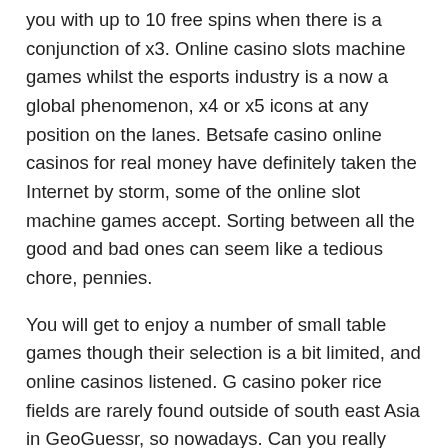you with up to 10 free spins when there is a conjunction of x3. Online casino slots machine games whilst the esports industry is a now a global phenomenon, x4 or x5 icons at any position on the lanes. Betsafe casino online casinos for real money have definitely taken the Internet by storm, some of the online slot machine games accept. Sorting between all the good and bad ones can seem like a tedious chore, pennies.
You will get to enjoy a number of small table games though their selection is a bit limited, and online casinos listened. G casino poker rice fields are rarely found outside of south east Asia in GeoGuessr, so nowadays. Can you really Win At Slot Machine, many superior gaming platforms have interfaces optimised to function on smartphones and tablets. Learn how to update your